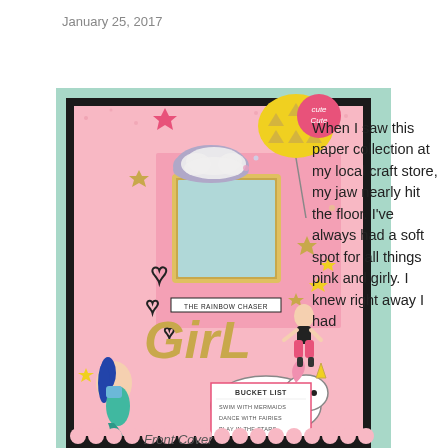January 25, 2017
[Figure (photo): A colorful scrapbook layout featuring a pink and mint green background with unicorn, mermaid, girl, star, heart, cloud, and balloon embellishments. Text reads 'GIRL', 'THE RAINBOW CHASER', and 'BUCKET LIST' with items: swim with mermaids, dance with fairies, play in the stars, ride a unicorn.]
Front Cover
When I saw this paper collection at my local craft store, my jaw nearly hit the floor. I've always had a soft spot for all things pink and girly. I knew right away I had